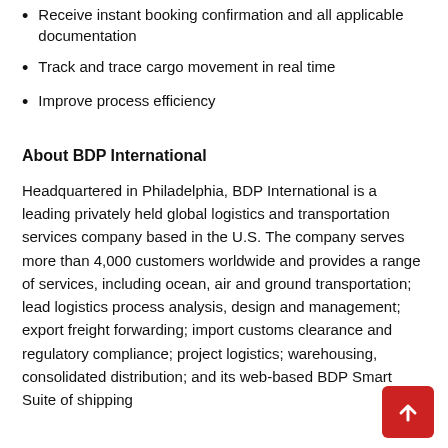Receive instant booking confirmation and all applicable documentation
Track and trace cargo movement in real time
Improve process efficiency
About BDP International
Headquartered in Philadelphia, BDP International is a leading privately held global logistics and transportation services company based in the U.S. The company serves more than 4,000 customers worldwide and provides a range of services, including ocean, air and ground transportation; lead logistics process analysis, design and management; export freight forwarding; import customs clearance and regulatory compliance; project logistics; warehousing, consolidated distribution; and its web-based BDP Smart Suite of shipping